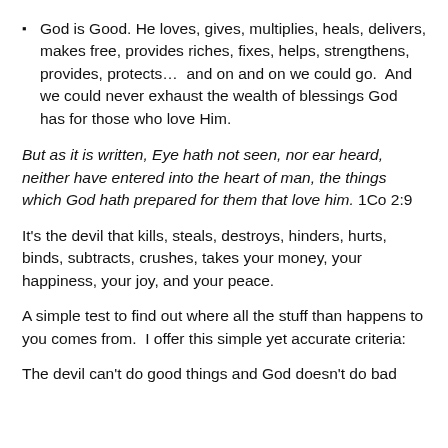God is Good. He loves, gives, multiplies, heals, delivers, makes free, provides riches, fixes, helps, strengthens, provides, protects…  and on and on we could go.  And we could never exhaust the wealth of blessings God has for those who love Him.
But as it is written, Eye hath not seen, nor ear heard, neither have entered into the heart of man, the things which God hath prepared for them that love him. 1Co 2:9
It's the devil that kills, steals, destroys, hinders, hurts, binds, subtracts, crushes, takes your money, your happiness, your joy, and your peace.
A simple test to find out where all the stuff than happens to you comes from.  I offer this simple yet accurate criteria:
The devil can't do good things and God doesn't do bad